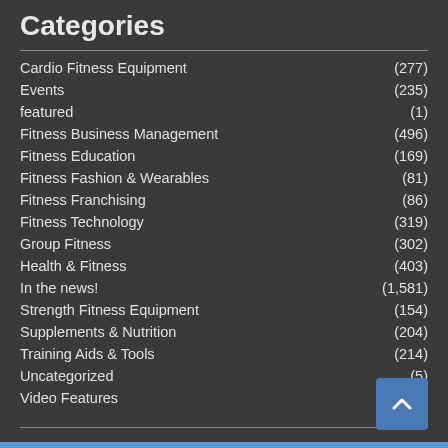Categories
Cardio Fitness Equipment (277)
Events (235)
featured (1)
Fitness Business Management (496)
Fitness Education (169)
Fitness Fashion & Wearables (81)
Fitness Franchising (86)
Fitness Technology (319)
Group Fitness (302)
Health & Fitness (403)
In the news! (1,581)
Strength Fitness Equipment (154)
Supplements & Nutrition (204)
Training Aids & Tools (214)
Uncategorized (5)
Video Features (426)